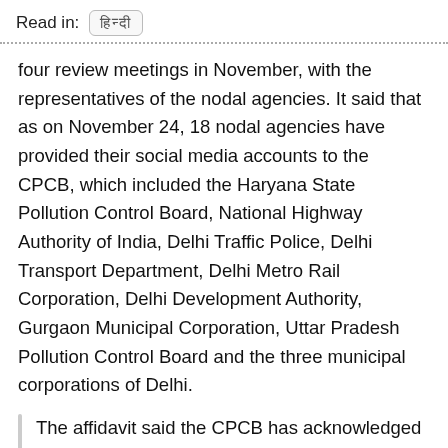Read in: [Hindi text]
four review meetings in November, with the representatives of the nodal agencies. It said that as on November 24, 18 nodal agencies have provided their social media accounts to the CPCB, which included the Haryana State Pollution Control Board, National Highway Authority of India, Delhi Traffic Police, Delhi Transport Department, Delhi Metro Rail Corporation, Delhi Development Authority, Gurgaon Municipal Corporation, Uttar Pradesh Pollution Control Board and the three municipal corporations of Delhi.
The affidavit said the CPCB has acknowledged receipt of complaints and also conveyed information on action taken to